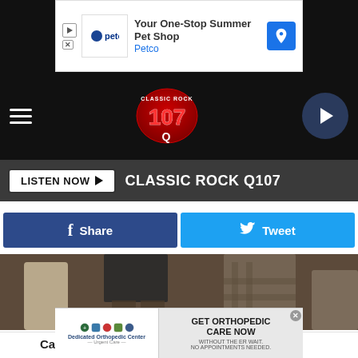[Figure (screenshot): Petco ad banner: 'Your One-Stop Summer Pet Shop' with Petco logo and navigation arrow icon]
[Figure (screenshot): Classic Rock Q107 radio station header with hamburger menu, station logo, and play button circle]
LISTEN NOW ▶   CLASSIC ROCK Q107
[Figure (screenshot): Facebook Share and Twitter Tweet social sharing buttons]
[Figure (photo): Partial photo of people, cropped showing lower bodies/legs area]
Categories: East Texas News
[Figure (screenshot): Dedicated Orthopedic Center ad: 'GET ORTHOPEDIC CARE NOW WITHOUT THE ER WAIT. NO APPOINTMENTS NEEDED.']